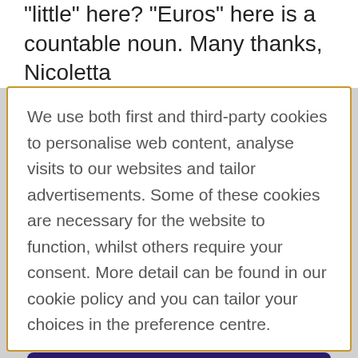"little" here? "Euros" here is a countable noun. Many thanks, Nicoletta
We use both first and third-party cookies to personalise web content, analyse visits to our websites and tailor advertisements. Some of these cookies are necessary for the website to function, whilst others require your consent. More detail can be found in our cookie policy and you can tailor your choices in the preference centre.
Accept All Cookies
Cookies Settings